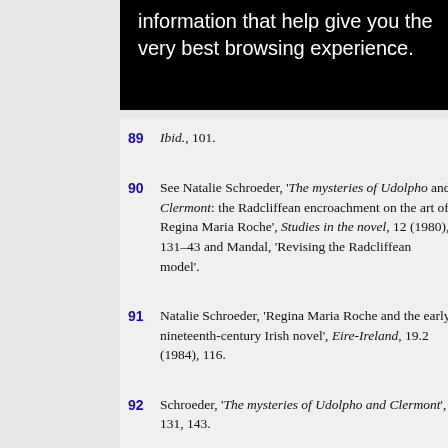information that help give you the very best browsing experience.
89 Ibid., 101.
90 See Natalie Schroeder, ‘The mysteries of Udolpho and Clermont: the Radcliffean encroachment on the art of Regina Maria Roche’, Studies in the novel, 12 (1980), 131–43 and Mandal, ‘Revising the Radcliffean model’.
91 Natalie Schroeder, ‘Regina Maria Roche and the early nineteenth-century Irish novel’, Eire-Ireland, 19.2 (1984), 116.
92 Schroeder, ‘The mysteries of Udolpho and Clermont’, 131, 143.
93 Ferris, ‘Transformations of the novel – II’, pp. 474.
94 McLeod, ‘The Minerva Press’, p. 85.